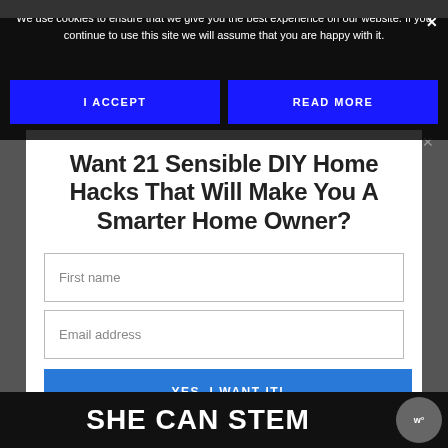We use cookies to ensure that we give you the best experience on our website. If you continue to use this site we will assume that you are happy with it.
[Figure (screenshot): Cookie consent banner with 'I ACCEPT' and 'READ MORE' blue buttons]
Want 21 Sensible DIY Home Hacks That Will Make You A Smarter Home Owner?
First name
Email address
YES, I WANT IT!
SHE CAN STEM